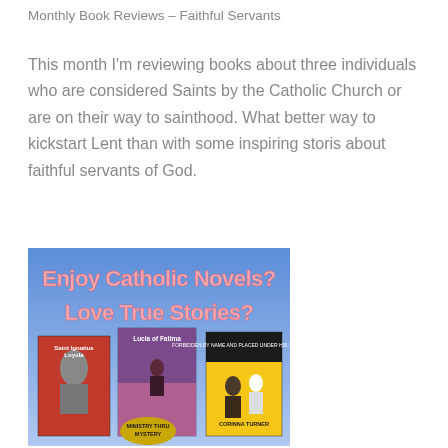Monthly Book Reviews – Faithful Servants
This month I'm reviewing books about three individuals who are considered Saints by the Catholic Church or are on their way to sainthood. What better way to kickstart Lent than with some inspiring storis about faithful servants of God.
[Figure (illustration): Promotional image for Catholic novels featuring text 'Enjoy Catholic Novels? Love True Stories?' in pink lettering on a blue/purple sky background, with three book covers below: Saint Ignatius Loyola, Lucia of Fatima, and a third book by Corinna Turner. A 'Ministry Thru Mystery' badge is visible.]